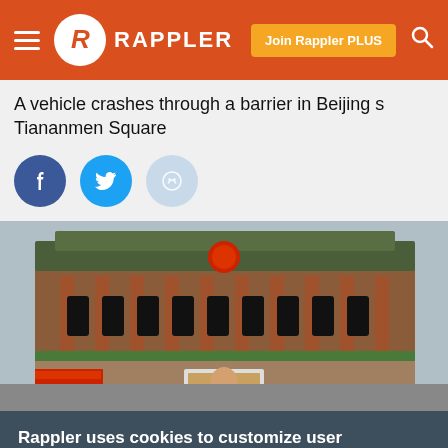Rappler — Join Rappler PLUS
A vehicle crashes through a barrier in Beijing s Tiananmen Square
[Figure (photo): Tiananmen Square gate building with red columns and traditional Chinese architecture, portrait of Mao Zedong visible at center]
Rappler uses cookies to customize user experience
By continued use, you agree to our privacy policy and accept our use of such cookies. For further information, click find out more
I ACCEPT